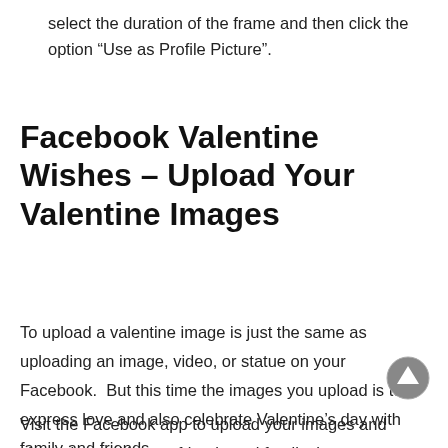select the duration of the frame and then click the option “Use as Profile Picture”.
Facebook Valentine Wishes – Upload Your Valentine Images
To upload a valentine image is just the same as uploading an image, video, or statue on your Facebook.  But this time the images you upload is to express love and also celebrate Valentine’s day with family and friends.
Visit the Facebook app to upload your images and share them with your friends and family that...